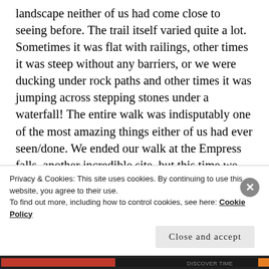landscape neither of us had come close to seeing before. The trail itself varied quite a lot. Sometimes it was flat with railings, other times it was steep without any barriers, or we were ducking under rock paths and other times it was jumping across stepping stones under a waterfall! The entire walk was indisputably one of the most amazing things either of us had ever seen/done. We ended our walk at the Empress falls, another incredible site, but this time we had to walk up to get back to the top of the cliffs (less fun). I was absolutely shattered by the end of it and we still had to walk a few kilometres to the train station to get back.
Privacy & Cookies: This site uses cookies. By continuing to use this website, you agree to their use.
To find out more, including how to control cookies, see here: Cookie Policy
Close and accept